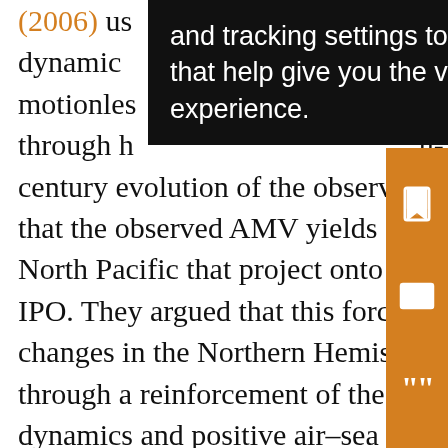(2006) used ... and tracking settings to store information that help give you the very best browsing experience. ... horizontally motionless ... through h... century evolution of the observed AMV. They showed that the observed AMV yields climate impacts in the North Pacific that project onto the northern part of the IPO. They argued that this forcing occurs through changes in the Northern Hemisphere storm tracks and through a reinforcement of the response by ocean dynamics and positive air–sea feedbacks over the North Pacific (Zhang and Delworth 2007). Their proposed mechanism hence involved mainly an extratropical teleconnection. This contrasts with Dong et al. (2006), who used a different approach in which the coupled model SSTs were relaxed toward fixed SST anomalies corresponding to the observed AMV over the Atlantic...
[Figure (screenshot): A dark tooltip/popup overlay showing cookie/tracking settings text: 'and tracking settings to store information that help give you the very best browsing experience.']